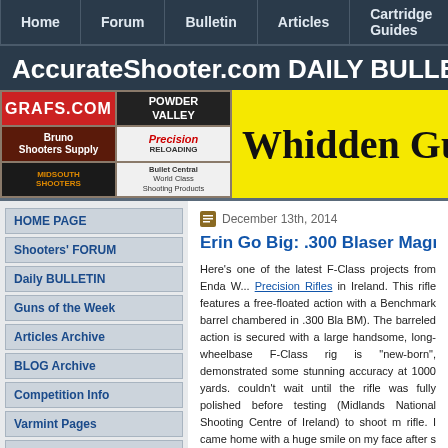Home | Forum | Bulletin | Articles | Cartridge Guides
AccurateShooter.com DAILY BULLET
[Figure (screenshot): Sponsor banner with logos: GRAFS.COM, POWDER VALLEY, Bruno Shooters Supply, Precision Reloading, MIDSOUTH SHOOTERS, Bullet Central World Class Shooting Products, and Whidden Gunw... (yellow background ad)]
HOME PAGE
Shooters' FORUM
Daily BULLETIN
Guns of the Week
Articles Archive
BLOG Archive
Competition Info
Varmint Pages
6BR Info Page
6BR Improved
17 CAL Info Page
December 13th, 2014
Erin Go Big: .300 Blaser Magnum
Here's one of the latest F-Class projects from Enda W... Precision Rifles in Ireland. This rifle features a free-floated action with a Benchmark barrel chambered in .300 Bla BM). The barreled action is secured with a large handsome, long-wheelbase F-Class rig is "new-born", demonstrated some stunning accuracy at 1000 yards. couldn't wait until the rifle was fully polished before testing (Midlands National Shooting Centre of Ireland) to shoot m rifle. I came home with a huge smile on my face after s